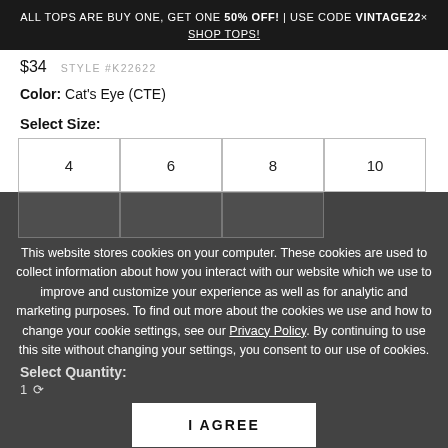ALL TOPS ARE BUY ONE, GET ONE 50% OFF! | USE CODE VINTAGE22x SHOP TOPS!
$34  STYLE #K22622
Color: Cat's Eye (CTE)
Select Size:
Size options: 4, 6, 8, 10
This website stores cookies on your computer. These cookies are used to collect information about how you interact with our website which we use to improve and customize your experience as well as for analytic and marketing purposes. To find out more about the cookies we use and how to change your cookie settings, see our Privacy Policy. By continuing to use this site without changing your settings, you consent to our use of cookies.
Select Quantity:
1
Double printed stripes accent the mid-rise waist of these bottoms, giving an edgy timeless silhouette. Moderate rear coverage keeps ms family-friendly for beach days or hours by the pool!
I AGREE